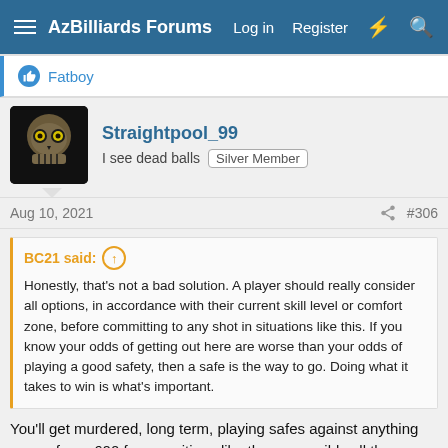AzBilliards Forums  Log in  Register
Fatboy
Straightpool_99
I see dead balls  Silver Member
Aug 10, 2021  #306
BC21 said:
Honestly, that's not a bad solution. A player should really consider all options, in accordance with their current skill level or comfort zone, before committing to any shot in situations like this. If you know your odds of getting out here are worse than your odds of playing a good safety, then a safe is the way to go. Doing what it takes to win is what's important.
You'll get murdered, long term, playing safes against anything over a fargo 600 from positions like these, possibly all the way down to about 550.